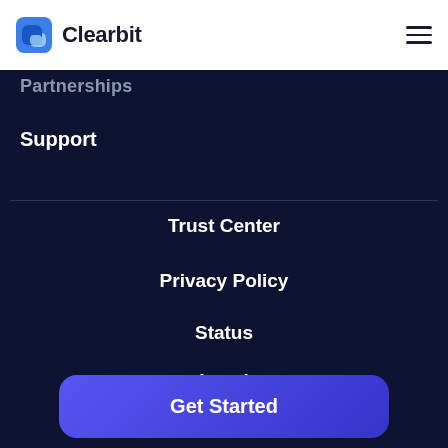Clearbit
Partnerships
Support
Trust Center
Privacy Policy
Status
Legal
Do Not Sell My Personal Information
[Figure (logo): Get Started button (blue rounded rectangle)]